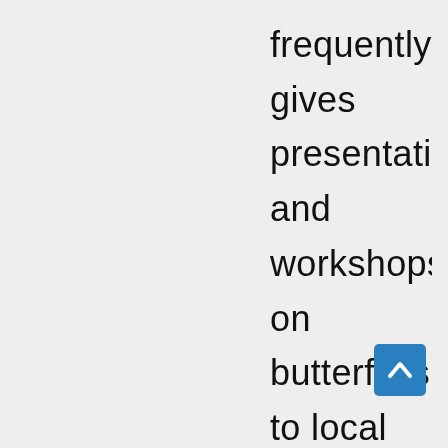frequently gives presentations and workshops on butterflies to local chapters of the Florida Native Plant Society, North American Butterfly Association, Audubon Society, and other conservation groups. He is a past president of the Southern Lepidopterists' Society and in 1999 received the John Ab​t Award in recognition of